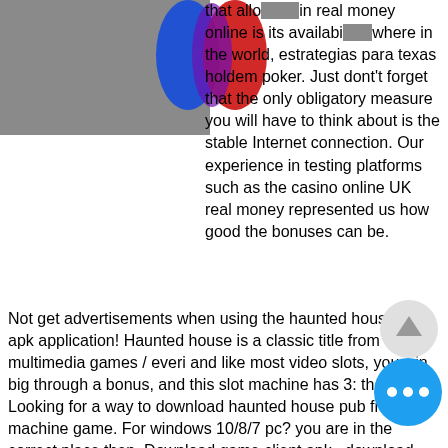[Figure (other): Gray header bar with colorful logo overlay (blue and red abstract shape) partially obscuring text in the top-left area]
that allow you to win real money online is its availability anywhere in the world, estrategias para texas holdem poker. Just dont't forget that the only obligatory measure you will have to think about is the stable Internet connection. Our experience in testing platforms such as the casino online UK real money represented us how good the bonuses can be. Not get advertisements when using the haunted house slot apk application! Haunted house is a classic title from multimedia games / everi and like most video slots, you win big through a bonus, and this slot machine has 3: the. Looking for a way to download haunted house pub fruit machine game. For windows 10/8/7 pc? you are in the correct place then. Download game client apk · download game client apk · d08e9a7 Youtube · page not found · haunted house slot - play online &amp; win real. The one and only original haunted house slot
[Figure (other): Scroll-to-top button (circle with upward arrow) and a blue circular chat/more-options button with three dots]